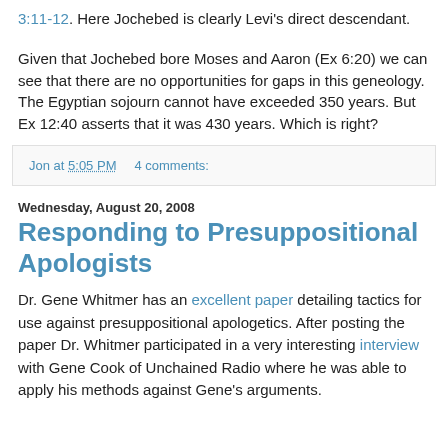3:11-12. Here Jochebed is clearly Levi's direct descendant.
Given that Jochebed bore Moses and Aaron (Ex 6:20) we can see that there are no opportunities for gaps in this geneology. The Egyptian sojourn cannot have exceeded 350 years. But Ex 12:40 asserts that it was 430 years. Which is right?
Jon at 5:05 PM    4 comments:
Wednesday, August 20, 2008
Responding to Presuppositional Apologists
Dr. Gene Whitmer has an excellent paper detailing tactics for use against presuppositional apologetics. After posting the paper Dr. Whitmer participated in a very interesting interview with Gene Cook of Unchained Radio where he was able to apply his methods against Gene's arguments.